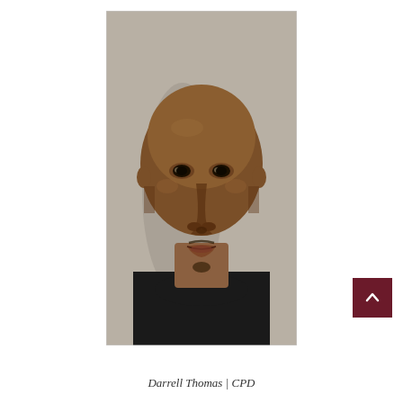[Figure (photo): Mugshot photograph of Darrell Thomas, a bald Black male wearing a black crew-neck shirt, photographed against a gray background. Photo credit: CPD (Chicago Police Department).]
Darrell Thomas | CPD